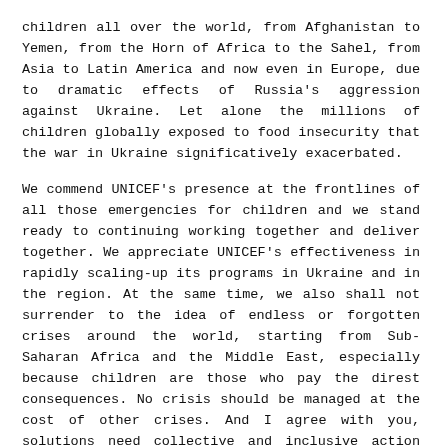children all over the world, from Afghanistan to Yemen, from the Horn of Africa to the Sahel, from Asia to Latin America and now even in Europe, due to dramatic effects of Russia's aggression against Ukraine. Let alone the millions of children globally exposed to food insecurity that the war in Ukraine significatively exacerbated.
We commend UNICEF's presence at the frontlines of all those emergencies for children and we stand ready to continuing working together and deliver together. We appreciate UNICEF's effectiveness in rapidly scaling-up its programs in Ukraine and in the region. At the same time, we also shall not surrender to the idea of endless or forgotten crises around the world, starting from Sub-Saharan Africa and the Middle East, especially because children are those who pay the direst consequences. No crisis should be managed at the cost of other crises. And I agree with you, solutions need collective and inclusive action and SDGs implementation will require targeted forceful investments in children and children fundamental rights.